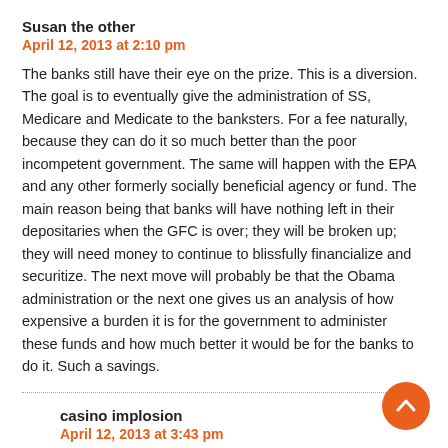Susan the other
April 12, 2013 at 2:10 pm
The banks still have their eye on the prize. This is a diversion. The goal is to eventually give the administration of SS, Medicare and Medicate to the banksters. For a fee naturally, because they can do it so much better than the poor incompetent government. The same will happen with the EPA and any other formerly socially beneficial agency or fund. The main reason being that banks will have nothing left in their depositaries when the GFC is over; they will be broken up; they will need money to continue to blissfully financialize and securitize. The next move will probably be that the Obama administration or the next one gives us an analysis of how expensive a burden it is for the government to administer these funds and how much better it would be for the banks to do it. Such a savings.
casino implosion
April 12, 2013 at 3:43 pm
“…he goal is to eventually give the administration of SS, Medicare and Medicate to the banksters…”
That’s my theory. They want to “gamble” with our payroll